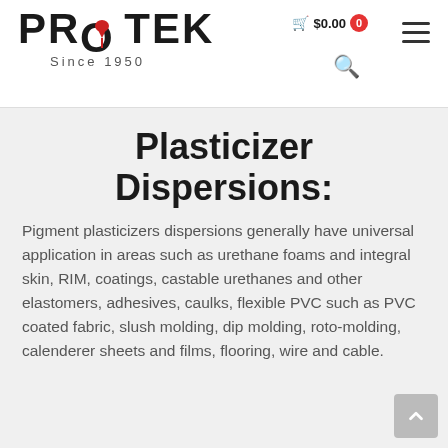[Figure (logo): PROTEK Since 1950 logo with red drip drop graphic inside the O]
$0.00 0
Plasticizer Dispersions:
Pigment plasticizers dispersions generally have universal application in areas such as urethane foams and integral skin, RIM, coatings, castable urethanes and other elastomers, adhesives, caulks, flexible PVC such as PVC coated fabric, slush molding, dip molding, roto-molding, calenderer sheets and films, flooring, wire and cable.